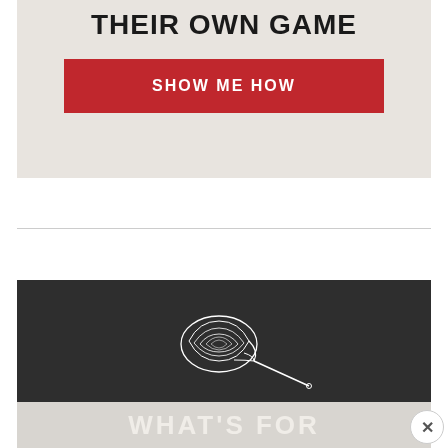THEIR OWN GAME
[Figure (other): Red call-to-action button reading SHOW ME HOW on a light beige background]
[Figure (illustration): White line drawing of a whisk on a dark charcoal/blackboard background]
WHAT'S FOR